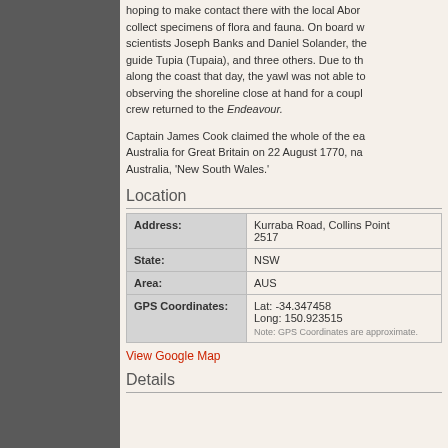hoping to make contact there with the local Abor... collect specimens of flora and fauna. On board w... scientists Joseph Banks and Daniel Solander, the guide Tupia (Tupaia), and three others. Due to th... along the coast that day, the yawl was not able to observing the shoreline close at hand for a coupl... crew returned to the Endeavour.
Captain James Cook claimed the whole of the ea... Australia for Great Britain on 22 August 1770, na... Australia, 'New South Wales.'
Location
|  |  |
| --- | --- |
| Address: | Kurraba Road, Collins Point...
2517 |
| State: | NSW |
| Area: | AUS |
| GPS Coordinates: | Lat: -34.347458
Long: 150.923515
Note: GPS Coordinates are approximate. |
View Google Map
Details